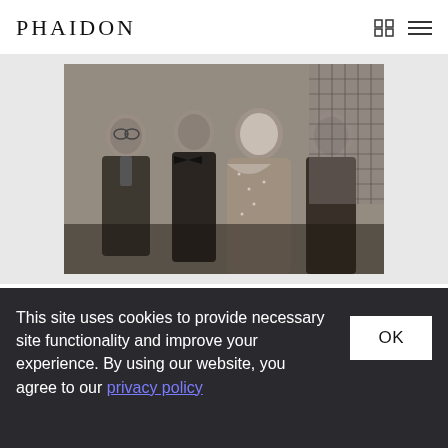PHAIDON
[Figure (photo): Black and white photograph of four people (three men and one woman) standing together, the woman wearing a beaded gown, the men in suits, with a latticed screen or window visible in the background on the right.]
This site uses cookies to provide necessary site functionality and improve your experience. By using our website, you agree to our privacy policy